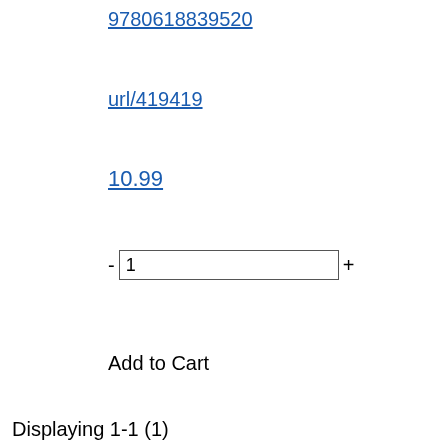9780618839520
url/419419
10.99
- 1 +
Add to Cart
Displaying 1-1 (1)